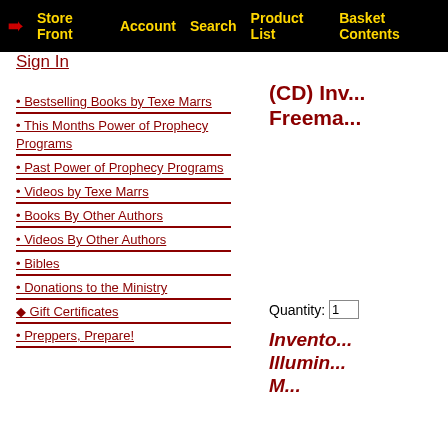Store Front  Account  Search  Product List  Basket Contents
Sign In
• Bestselling Books by Texe Marrs
• This Months Power of Prophecy Programs
• Past Power of Prophecy Programs
• Videos by Texe Marrs
• Books By Other Authors
• Videos By Other Authors
• Bibles
• Donations to the Ministry
◆ Gift Certificates
• Preppers, Prepare!
(CD) Inv... Freema...
Quantity: 1
Invento... Illumin... M...